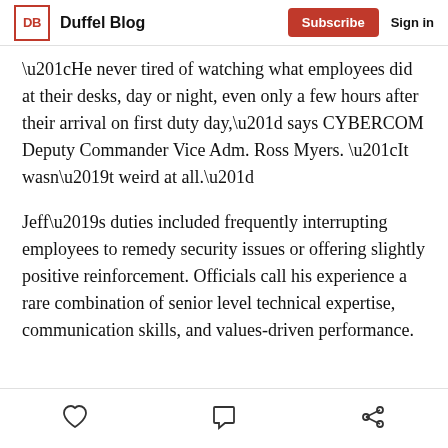Duffel Blog | Subscribe | Sign in
“He never tired of watching what employees did at their desks, day or night, even only a few hours after their arrival on first duty day,” says CYBERCOM Deputy Commander Vice Adm. Ross Myers. “It wasn’t weird at all.”
Jeff’s duties included frequently interrupting employees to remedy security issues or offering slightly positive reinforcement. Officials call his experience a rare combination of senior level technical expertise, communication skills, and values-driven performance.
[like icon] [comment icon] [share icon]